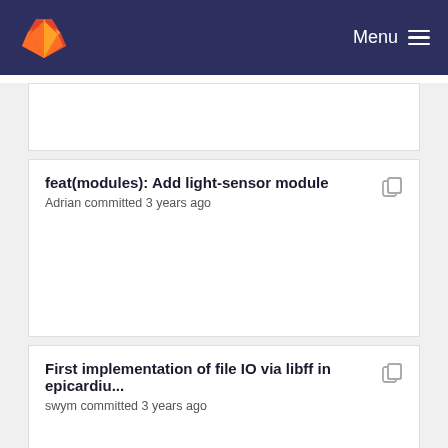Menu
feat(modules): Add light-sensor module
Adrian committed 3 years ago
First implementation of file IO via libff in epicardiu...
swym committed 3 years ago